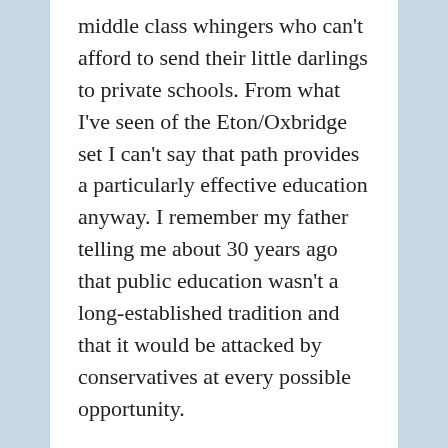middle class whingers who can't afford to send their little darlings to private schools. From what I've seen of the Eton/Oxbridge set I can't say that path provides a particularly effective education anyway. I remember my father telling me about 30 years ago that public education wasn't a long-established tradition and that it would be attacked by conservatives at every possible opportunity.